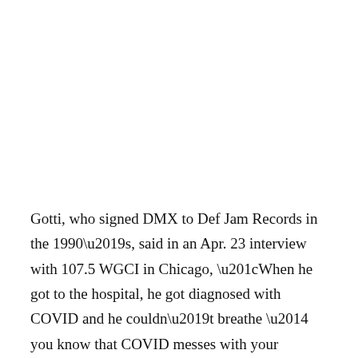Gotti, who signed DMX to Def Jam Records in the 1990's, said in an Apr. 23 interview with 107.5 WGCI in Chicago, “When he got to the hospital, he got diagnosed with COVID and he couldn’t breathe — you know that COVID messes with your respiratory system — so that’s why he had to get hooked up to the